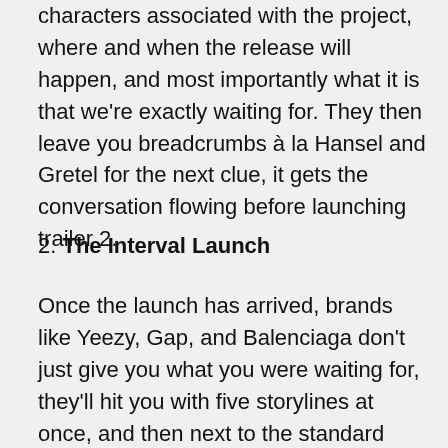characters associated with the project, where and when the release will happen, and most importantly what it is that we're exactly waiting for. They then leave you breadcrumbs à la Hansel and Gretel for the next clue, it gets the conversation flowing before launching trailer 2.
2. The Interval Launch
Once the launch has arrived, brands like Yeezy, Gap, and Balenciaga don't just give you what you were waiting for, they'll hit you with five storylines at once, and then next to the standard year-round available mainline product and messaging, nothing for weeks. It's the season finale. Think Balenciaga x Fortnite, Kim Kardashian's all black viral Balenciaga MET GALA fit, Balenciaga x Simpson's short film, the "you-are-the-